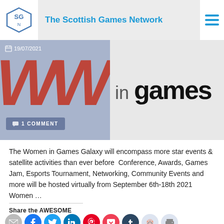The Scottish Games Network
[Figure (screenshot): Women in Games event banner with date 19/07/2021, red W graphic, and '1 COMMENT' button on left; 'in games' text on right]
The Women in Games Galaxy will encompass more star events & satellite activities than ever before  Conference, Awards, Games Jam, Esports Tournament, Networking, Community Events and more will be hosted virtually from September 6th-18th 2021 Women ...
Share the AWESOME